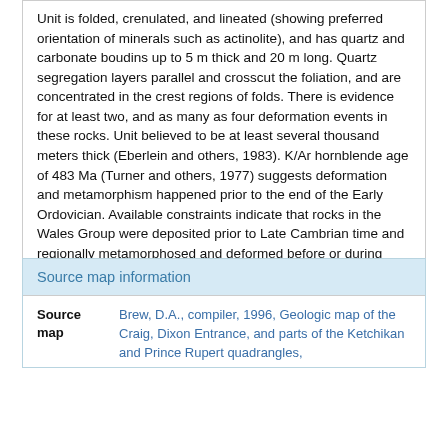Unit is folded, crenulated, and lineated (showing preferred orientation of minerals such as actinolite), and has quartz and carbonate boudins up to 5 m thick and 20 m long. Quartz segregation layers parallel and crosscut the foliation, and are concentrated in the crest regions of folds. There is evidence for at least two, and as many as four deformation events in these rocks. Unit believed to be at least several thousand meters thick (Eberlein and others, 1983). K/Ar hornblende age of 483 Ma (Turner and others, 1977) suggests deformation and metamorphism happened prior to the end of the Early Ordovician. Available constraints indicate that rocks in the Wales Group were deposited prior to Late Cambrian time and regionally metamorphosed and deformed before or during Early Ordovician time (Gehrels, 1992)
Source map information
|  |  |
| --- | --- |
| Source map | Brew, D.A., compiler, 1996, Geologic map of the Craig, Dixon Entrance, and parts of the Ketchikan and Prince Rupert quadrangles, |